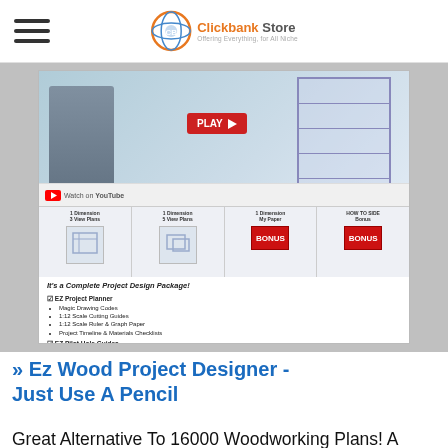Clickbank Store — Offering Everything for All Niche
[Figure (screenshot): Screenshot of Ez Wood Project Designer product page showing a video thumbnail with a person and a shelf unit, a red PLAY button, a YouTube bar, four bonus material thumbnail images, and a product content list including 'It's a Complete Project Design Package!' with sections: EZ Project Planner (Magic Drawing Codes, 1:12 Scale Cutting Guides, 1:12 Scale Ruler & Graph Paper, Project Timeline & Materials Checklists), EZ Pilot Hole Guides (1x Boards Pilot Hole Templates, 2x Boards Pilot Hole Templates, Plywood Edge Pilot Hole Templates), My First Project – 3 Easy Project Plans (EZ 2x4 Cutting Station Plans, EZ 2x4 Workbench Plans, EZ Solid Pine Bookcase Plan)]
» Ez Wood Project Designer - Just Use A Pencil
Great Alternative To 16000 Woodworking Plans! A More Reasonable Price ($30) Means More Sales. Not A Software